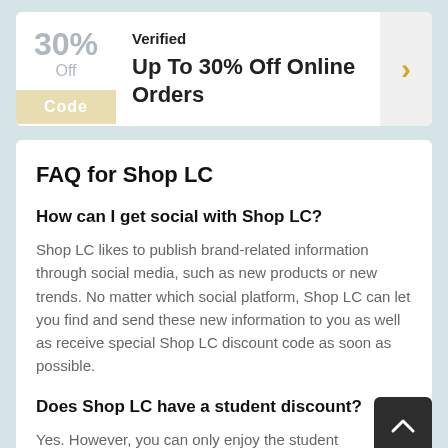[Figure (other): Coupon card showing 30% off online orders with a 'Code' button, 'Verified' label, and a yellow arrow button on the right]
FAQ for Shop LC
How can I get social with Shop LC?
Shop LC likes to publish brand-related information through social media, such as new products or new trends. No matter which social platform, Shop LC can let you find and send these new information to you as well as receive special Shop LC discount code as soon as possible.
Does Shop LC have a student discount?
Yes. However, you can only enjoy the student